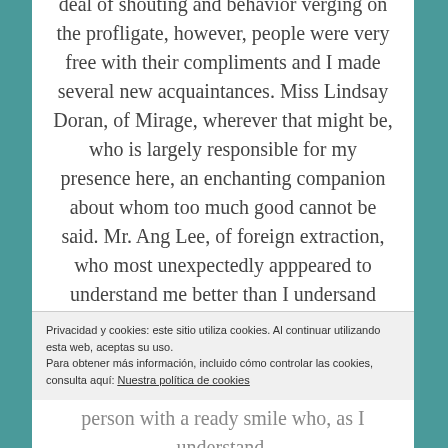deal of shouting and behavior verging on the profligate, however, people were very free with their compliments and I made several new acquaintances. Miss Lindsay Doran, of Mirage, wherever that might be, who is largely responsible for my presence here, an enchanting companion about whom too much good cannot be said. Mr. Ang Lee, of foreign extraction, who most unexpectedly apppeared to understand me better than I undersand myself. Mr. James Schamus, a copiously erudite gentleman, and Miss Kate Winslet, beautiful in both countenance and spirit. Mr. Pat Doyle, a
Privacidad y cookies: este sitio utiliza cookies. Al continuar utilizando esta web, aceptas su uso.
Para obtener más información, incluido cómo controlar las cookies, consulta aquí: Nuestra política de cookies
Cerrar y aceptar
person with a ready smile who, as I understand,